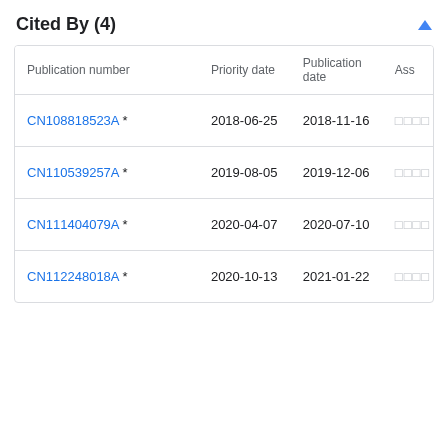Cited By (4)
| Publication number | Priority date | Publication date | Ass |
| --- | --- | --- | --- |
| CN108818523A * | 2018-06-25 | 2018-11-16 | □□□□ |
| CN110539257A * | 2019-08-05 | 2019-12-06 | □□□□ |
| CN111404079A * | 2020-04-07 | 2020-07-10 | □□□□ |
| CN112248018A * | 2020-10-13 | 2021-01-22 | □□□□ |